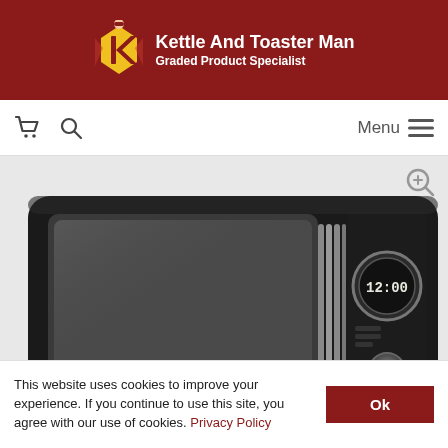Kettle And Toaster Man — Graded Product Specialist
[Figure (screenshot): Navigation bar with cart icon, search icon, and Menu button with hamburger icon]
[Figure (photo): Close-up product photo of a black retro-style microwave oven with silver trim and digital clock display showing 12:00]
This website uses cookies to improve your experience. If you continue to use this site, you agree with our use of cookies. Privacy Policy